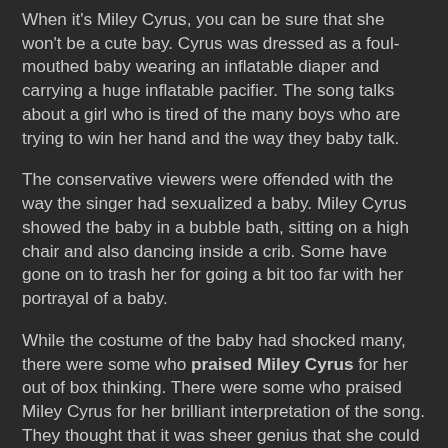When it's Miley Cyrus, you can be sure that she won't be a cute bay. Cyrus was dressed as a foul-mouthed baby wearing an inflatable diaper and carrying a huge inflatable pacifier. The song talks about a girl who is tired of the many boys who are trying to win her hand and the way they baby talk.
The conservative viewers were offended with the way the singer had sexualized a baby. Miley Cyrus showed the baby in a bubble bath, sitting on a high chair and also dancing inside a crib. Some have gone on to trash her for going a bit too far with her portrayal of a baby.
While the costume of the baby had shocked many, there were some who praised Miley Cyrus for her out of box thinking. There were some who praised Miley Cyrus for her brilliant interpretation of the song. They thought that it was sheer genius that she could associate baby talk of some of the boys with this